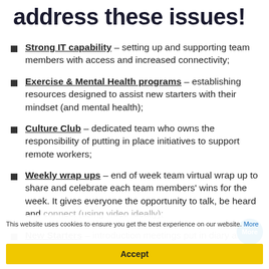address these issues!
Strong IT capability – setting up and supporting team members with access and increased connectivity;
Exercise & Mental Health programs – establishing resources designed to assist new starters with their mindset (and mental health);
Culture Club – dedicated team who owns the responsibility of putting in place initiatives to support remote workers;
Weekly wrap ups – end of week team virtual wrap up to share and celebrate each team members' wins for the week. It gives everyone the opportunity to talk, be heard and connect (using video ideally);
New Starters – introduction meetings put in diary and organised for the new starter with team members and
This website uses cookies to ensure you get the best experience on our website. More